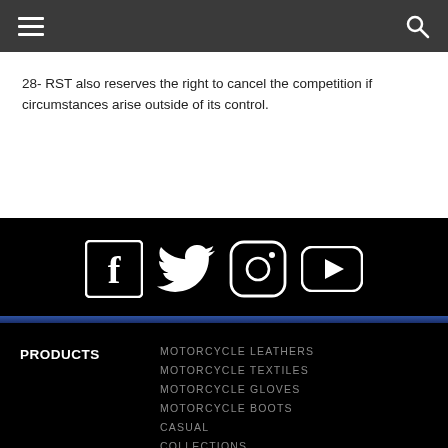navigation bar with hamburger menu and search icon
28- RST also reserves the right to cancel the competition if circumstances arise outside of its control.
[Figure (infographic): Social media icons row: Facebook, Twitter, Instagram, YouTube on black background]
MOTORCYCLE LEATHERS
MOTORCYCLE TEXTILES
MOTORCYCLE GLOVES
MOTORCYCLE BOOTS
CASUAL
COLLECTIONS